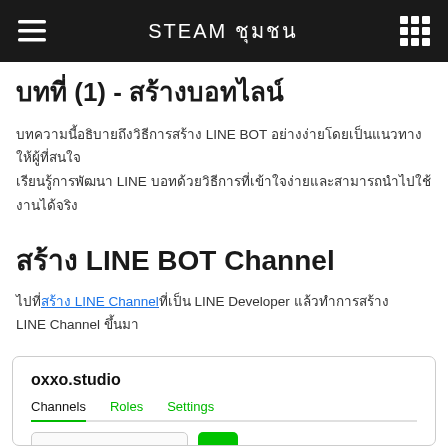STEAM ชุมชน
บทที่ (1) - สร้างบอทไลน์
บทความนี้อธิบายถึงวิธีการสร้าง LINE BOT อย่างง่ายโดยเป็นแนวทางให้ผู้ที่สนใจเริ่มเรียนรู้การพัฒนา LINE บอทด้วยวิธีการที่เข้าใจง่ายและสามารถนำไปใช้งานได้จริง
สร้าง LINE BOT Channel
ไปที่ สร้าง LINE Channel ที่เป็น LINE Developer แล้วทำการสร้าง LINE Channel ขึ้นมา
[Figure (screenshot): Screenshot of LINE Developer console showing oxxo.studio provider with Channels, Roles, Settings tabs and channel creation area]